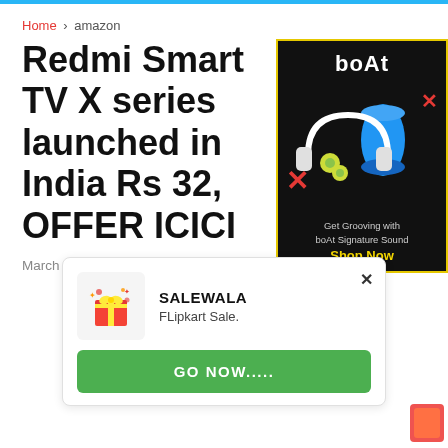Home > amazon
Redmi Smart TV X series launched in India Rs 32, OFFER ICICI
March 17, 2021
[Figure (illustration): boAt audio products advertisement showing headphones and earbuds with text 'Get Grooving with boAt Signature Sound' and 'Shop Now' button]
SALEWALA
FLipkart Sale.
[Figure (illustration): SALEWALA notification card with gift box icon, Flipkart Sale text, close button, and GO NOW..... green button]